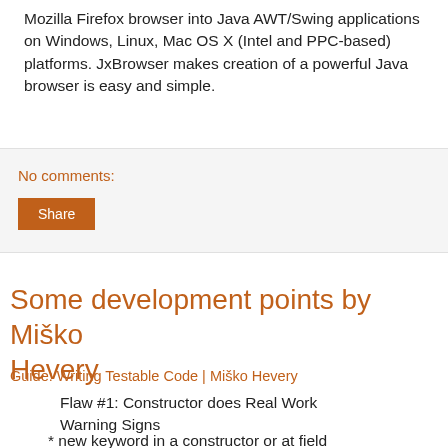Mozilla Firefox browser into Java AWT/Swing applications on Windows, Linux, Mac OS X (Intel and PPC-based) platforms. JxBrowser makes creation of a powerful Java browser is easy and simple.
No comments:
Share
Some development points by Miško Hevery
Guide: Writing Testable Code | Miško Hevery
Flaw #1: Constructor does Real Work
Warning Signs
* new keyword in a constructor or at field